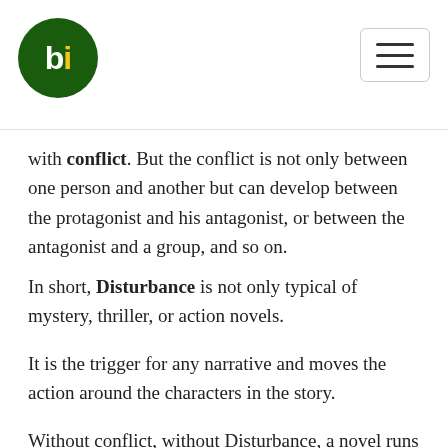bi (logo) — navigation menu
with conflict. But the conflict is not only between one person and another but can develop between the protagonist and his antagonist, or between the antagonist and a group, and so on.
In short, Disturbance is not only typical of mystery, thriller, or action novels.
It is the trigger for any narrative and moves the action around the characters in the story.
Without conflict, without Disturbance, a novel runs the risk of being boring. Therefore, the writer must study his characters well, investigating their conflicts, both external and internal.